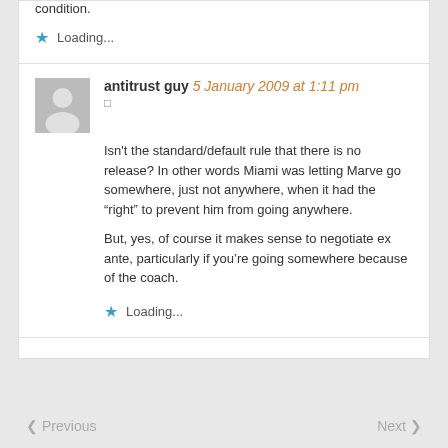condition.
Loading...
antitrust guy 5 January 2009 at 1:11 pm
Isn't the standard/default rule that there is no release? In other words Miami was letting Marve go somewhere, just not anywhere, when it had the “right” to prevent him from going anywhere.
But, yes, of course it makes sense to negotiate ex ante, particularly if you’re going somewhere because of the coach.
Loading...
Previous   Next